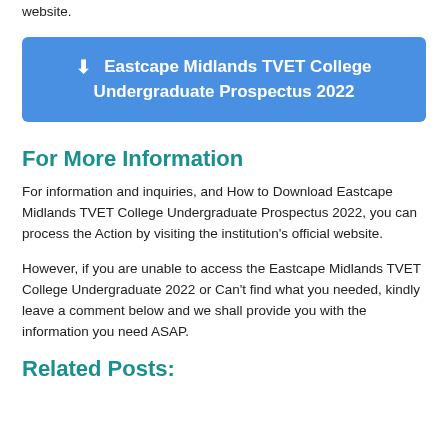website.
[Figure (other): Download button: Eastcape Midlands TVET College Undergraduate Prospectus 2022]
For More Information
For information and inquiries,  and How to Download Eastcape Midlands TVET College Undergraduate Prospectus 2022, you can process the Action by visiting the institution's official website.
However, if you are unable to access the Eastcape Midlands TVET College Undergraduate 2022 or Can't find what you needed, kindly leave a comment below and we shall provide you with the information you need ASAP.
Related Posts: